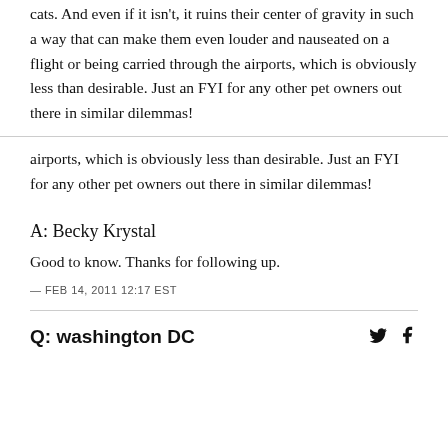cats. And even if it isn't, it ruins their center of gravity in such a way that can make them even louder and nauseated on a flight or being carried through the airports, which is obviously less than desirable. Just an FYI for any other pet owners out there in similar dilemmas!
A: Becky Krystal
Good to know. Thanks for following up.
— FEB 14, 2011 12:17 EST
Q: washington DC